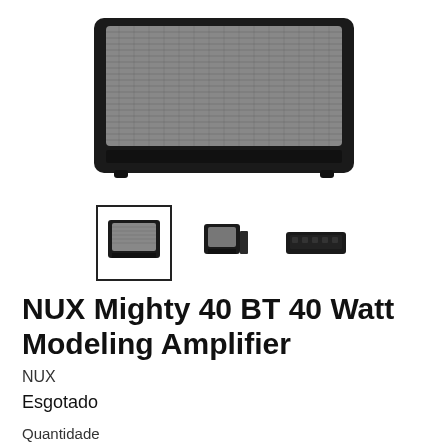[Figure (photo): Guitar amplifier combo — NUX Mighty 40 BT, black with grey speaker grille, front view, partially cropped at top]
[Figure (photo): Three thumbnail images of the NUX Mighty 40 BT amplifier from different angles: front (selected with border), side/angle, and back panel]
NUX Mighty 40 BT 40 Watt Modeling Amplifier
NUX
Esgotado
Quantidade